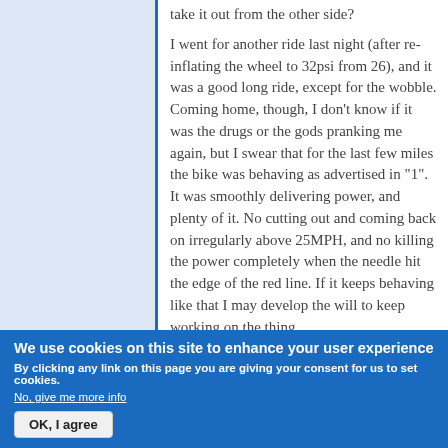take it out from the other side?
I went for another ride last night (after re-inflating the wheel to 32psi from 26), and it was a good long ride, except for the wobble. Coming home, though, I don't know if it was the drugs or the gods pranking me again, but I swear that for the last few miles the bike was behaving as advertised in "1". It was smoothly delivering power, and plenty of it. No cutting out and coming back on irregularly above 25MPH, and no killing the power completely when the needle hit the edge of the red line. If it keeps behaving like that I may develop the will to keep working on the thing.
We use cookies on this site to enhance your user experience
By clicking any link on this page you are giving your consent for us to set cookies.
No, give me more info
OK, I agree